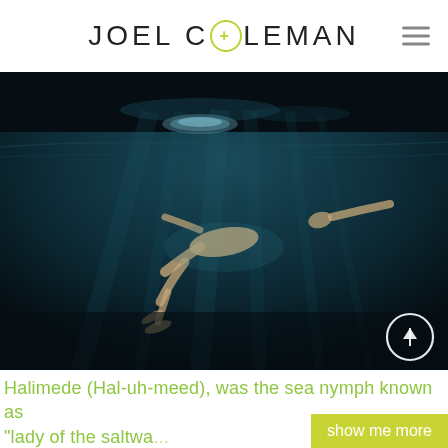JOEL COLEMAN
[Figure (photo): Underwater photograph of a person swimming in dark deep blue-green ocean water, with light rays filtering down from the surface. A circular disc shape is visible near the water surface above. The swimmer appears nude and is photographed from below.]
Halimede (Hal-uh-meed), was the sea nymph known as "lady of the saltwa...
show me more